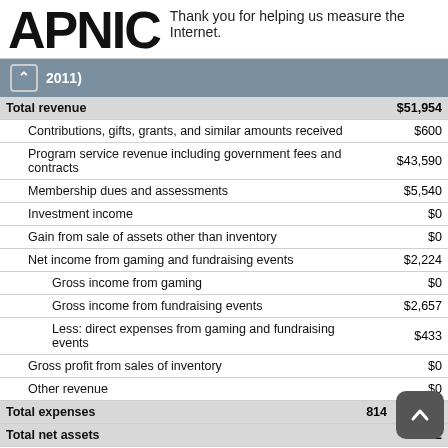APNIC — Thank you for helping us measure the Internet.
2011)
|  | Amount |
| --- | --- |
| Total revenue | $51,954 |
| Contributions, gifts, grants, and similar amounts received | $600 |
| Program service revenue including government fees and contracts | $43,590 |
| Membership dues and assessments | $5,540 |
| Investment income | $0 |
| Gain from sale of assets other than inventory | $0 |
| Net income from gaming and fundraising events | $2,224 |
| Gross income from gaming | $0 |
| Gross income from fundraising events | $2,657 |
| Less: direct expenses from gaming and fundraising events | $433 |
| Gross profit from sales of inventory | $0 |
| Other revenue | $0 |
| Total expenses | $...814 |
| Total net assets | $...102 |
| Excess for the year | $1,140 |
| Net assets of collaborating organisations | $18,962 |